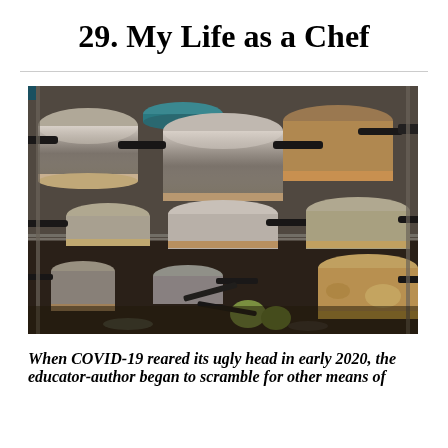29. My Life as a Chef
[Figure (photo): A cluttered kitchen shelf stacked with numerous used, stained pots and pans with black handles, photographed in a commercial kitchen setting.]
When COVID-19 reared its ugly head in early 2020, the educator-author began to scramble for other means of